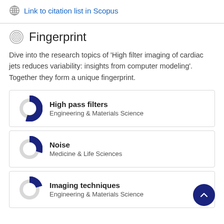Link to citation list in Scopus
Fingerprint
Dive into the research topics of 'High filter imaging of cardiac jets reduces variability: insights from computer modeling'. Together they form a unique fingerprint.
[Figure (infographic): Donut chart for High pass filters, approximately 80% filled, dark blue, Engineering & Materials Science]
[Figure (infographic): Donut chart for Noise, approximately 55% filled, dark blue, Medicine & Life Sciences]
[Figure (infographic): Donut chart for Imaging techniques, approximately 45% filled, dark blue, Engineering & Materials Science]